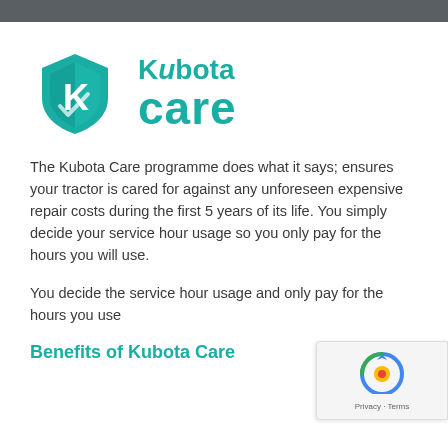[Figure (logo): Kubota Care logo: teal shield with K letter mark on left, 'Kubota care' text in teal on right]
The Kubota Care programme does what it says; ensures your tractor is cared for against any unforeseen expensive repair costs during the first 5 years of its life. You simply decide your service hour usage so you only pay for the hours you will use.
You decide the service hour usage and only pay for the hours you use
Benefits of Kubota Care